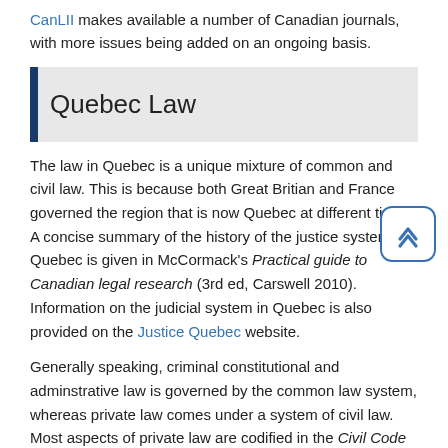CanLII makes available a number of Canadian journals, with more issues being added on an ongoing basis.
Quebec Law
The law in Quebec is a unique mixture of common and civil law. This is because both Great Britian and France governed the region that is now Quebec at different times. A concise summary of the history of the justice system in Quebec is given in McCormack's Practical guide to Canadian legal research (3rd ed, Carswell 2010). Information on the judicial system in Quebec is also provided on the Justice Quebec website.
Generally speaking, criminal constitutional and adminstrative law is governed by the common law system, whereas private law comes under a system of civil law. Most aspects of private law are codified in the Civil Code of Quebec.
The IALS Library has the current Civil Code of Quebec in looseleaf format in English and French. Numerous superseded versions are also